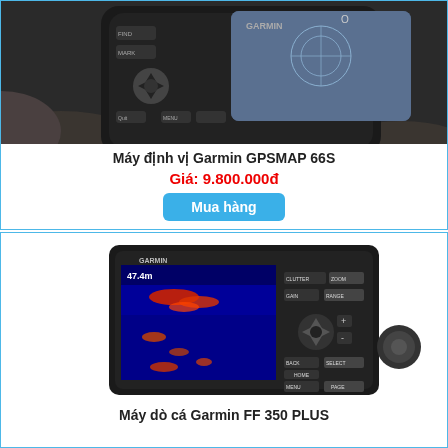[Figure (photo): Close-up photo of a Garmin GPSMAP 66S handheld GPS device with buttons and screen, placed on rocks]
Máy định vị Garmin GPSMAP 66S
Giá: 9.800.000đ
Mua hàng
[Figure (photo): Garmin FF 350 PLUS fish finder device showing a sonar screen with depth reading of 47.4m and fish targets, with control buttons including CLUTTER, ZOOM, GAIN, RANGE, BACK, SELECT, HOME, MENU, PAGE]
Máy dò cá Garmin FF 350 PLUS